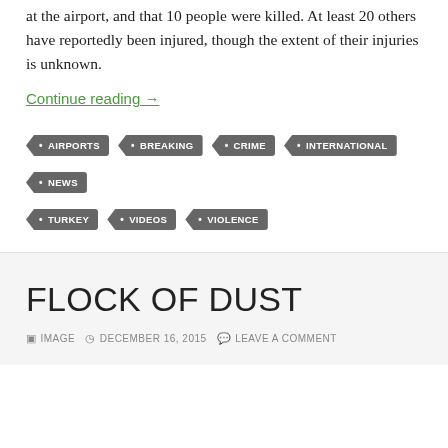at the airport, and that 10 people were killed. At least 20 others have reportedly been injured, though the extent of their injuries is unknown.
Continue reading →
AIRPORTS
BREAKING
CRIME
INTERNATIONAL
NEWS
TURKEY
VIDEOS
VIOLENCE
FLOCK OF DUST
IMAGE  DECEMBER 16, 2015  LEAVE A COMMENT